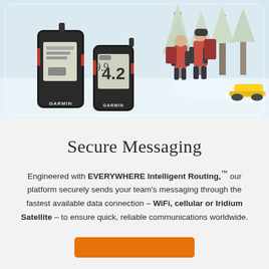[Figure (photo): Two Garmin inReach Mini satellite communicator devices (black and red) displayed in the foreground. In the background, two people in red outdoor gear walking through a snowy winter forest scene.]
Secure Messaging
Engineered with EVERYWHERE Intelligent Routing,™ our platform securely sends your team's messaging through the fastest available data connection – WiFi, cellular or Iridium Satellite – to ensure quick, reliable communications worldwide.